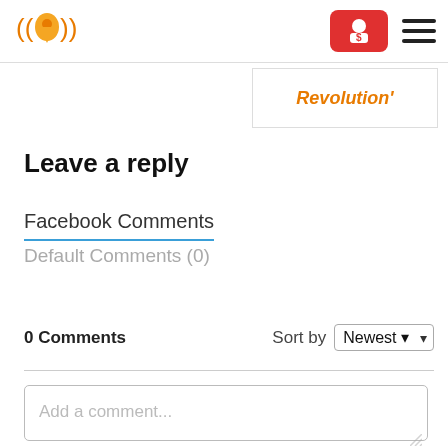[Figure (logo): Orange location pin with radio waves logo]
[Figure (other): Red button with user/dollar icon and hamburger menu]
Revolution'
Leave a reply
Facebook Comments
Default Comments (0)
0 Comments
Sort by Newest
Add a comment...